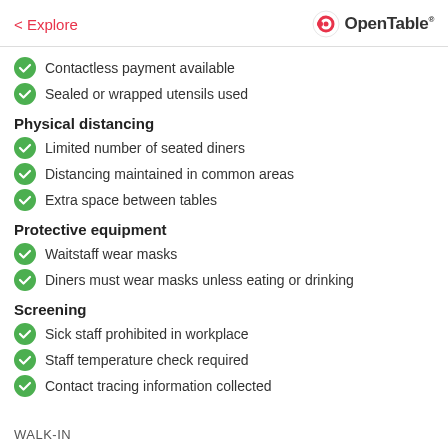< Explore | OpenTable
Contactless payment available
Sealed or wrapped utensils used
Physical distancing
Limited number of seated diners
Distancing maintained in common areas
Extra space between tables
Protective equipment
Waitstaff wear masks
Diners must wear masks unless eating or drinking
Screening
Sick staff prohibited in workplace
Staff temperature check required
Contact tracing information collected
WALK-IN